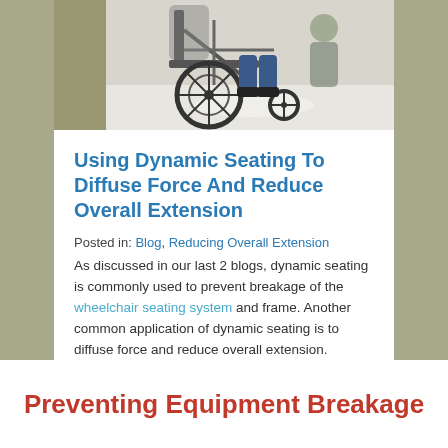[Figure (photo): Partial view of a person in a wheelchair, showing the wheelchair frame, wheels, and lower body of the user in an indoor setting.]
Using Dynamic Seating To Diffuse Force And Reduce Overall Extension
Posted in: Blog, Reducing Overall Extension
As discussed in our last 2 blogs, dynamic seating is commonly used to prevent breakage of the wheelchair seating system and frame. Another common application of dynamic seating is to diffuse force and reduce overall extension.
Preventing Equipment Breakage